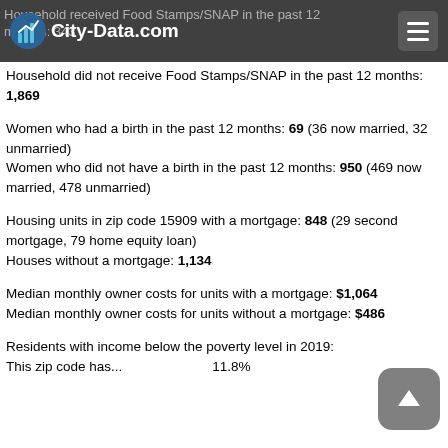City-Data.com
Household received Food Stamps/SNAP in the past 12 months: 343
Household did not receive Food Stamps/SNAP in the past 12 months: 1,869
Women who had a birth in the past 12 months: 69 (36 now married, 32 unmarried)
Women who did not have a birth in the past 12 months: 950 (469 now married, 478 unmarried)
Housing units in zip code 15909 with a mortgage: 848 (29 second mortgage, 79 home equity loan)
Houses without a mortgage: 1,134
Median monthly owner costs for units with a mortgage: $1,064
Median monthly owner costs for units without a mortgage: $486
Residents with income below the poverty level in 2019: